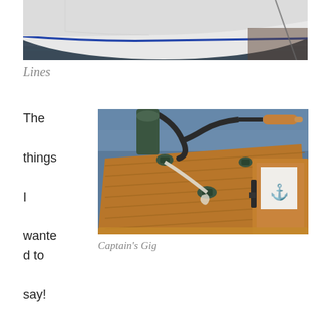[Figure (photo): Bottom portion of a white sailboat hull with blue trim, floating on dark water]
Lines
The things I wanted to say! Even my
[Figure (photo): Wooden deck of a Captain's Gig boat with teak planking, cleats, rope, and a tiller handle visible, reflecting blue water]
Captain's Gig